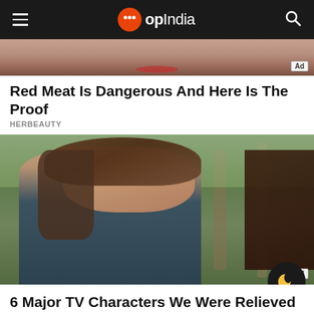opIndia
[Figure (photo): Partial close-up image of a face with red lips, top portion cropped, with Ad badge]
Red Meat Is Dangerous And Here Is The Proof
HERBEAUTY
[Figure (photo): A woman with long brown hair wearing a blue tank top, looking seriously at someone off-camera, outdoors with trees in background. Ad badge visible.]
6 Major TV Characters We Were Relieved To See Leaving The Show
BRAINBERRIES